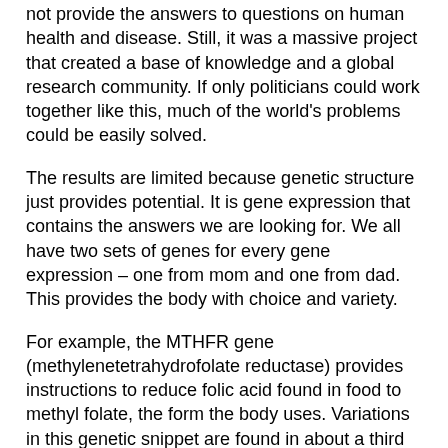not provide the answers to questions on human health and disease. Still, it was a massive project that created a base of knowledge and a global research community. If only politicians could work together like this, much of the world's problems could be easily solved.
The results are limited because genetic structure just provides potential. It is gene expression that contains the answers we are looking for. We all have two sets of genes for every gene expression – one from mom and one from dad. This provides the body with choice and variety.
For example, the MTHFR gene (methylenetetrahydrofolate reductase) provides instructions to reduce folic acid found in food to methyl folate, the form the body uses. Variations in this genetic snippet are found in about a third of the population. The variant limits or prevents this conversion. However, in most cases you inherit the variant from just one parent. The body can still convert folic acid to methyl folate if it chooses the correct gene – gene expression.
The Bottom Line:
Although mapping the human genome was a massive and